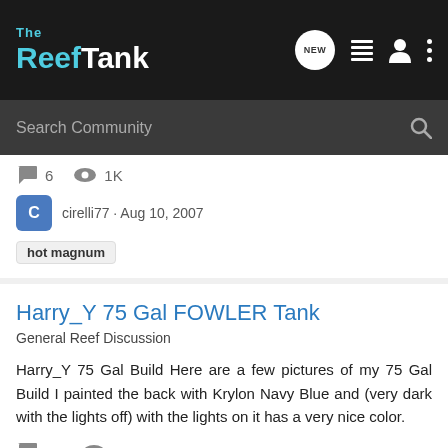The Reef Tank
Search Community
6 replies · 1K views · cirelli77 · Aug 10, 2007 · hot magnum
Harry_Y 75 Gal FOWLER Tank
General Reef Discussion
Harry_Y 75 Gal Build Here are a few pictures of my 75 Gal Build I painted the back with Krylon Navy Blue and (very dark with the lights off) with the lights on it has a very nice color.
30 replies · 6K views · Harry_Y · Aug 4, 2007